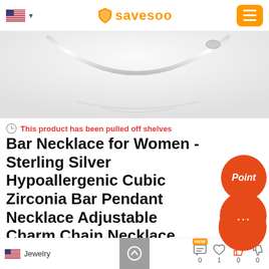savesoo
[Figure (photo): A silver bar necklace shown from above against a white background, displaying the pendant and chain with a reflective surface below.]
This product has been pulled off shelves
Bar Necklace for Women - Sterling Silver Hypoallergenic Cubic Zirconia Bar Pendant Necklace Adjustable Charm Chain Necklace Dainty Minimalist Necklace Gifts for Women Teen Girls
Jewelry